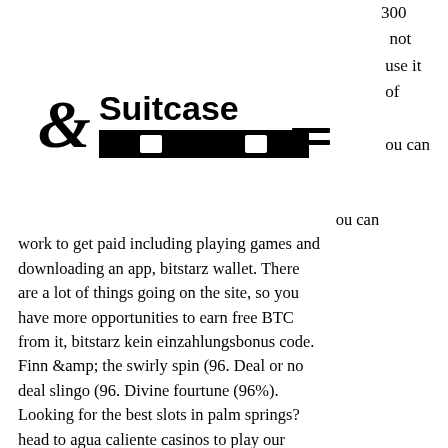300 not use it of . ou can
[Figure (logo): Suitcase logo with ampersand symbol and black bar with icons]
[Figure (other): Hamburger menu icon (three horizontal lines)]
ou can work to get paid including playing games and downloading an app, bitstarz wallet. There are a lot of things going on the site, so you have more opportunities to earn free BTC from it, bitstarz kein einzahlungsbonus code. Finn &amp; the swirly spin (96. Deal or no deal slingo (96. Divine fourtune (96%). Looking for the best slots in palm springs? head to agua caliente casinos to play our exciting new slot machines, classic favorites, penny slots,. Slot machines have always been appealing to both new and experienced players not only because of the excitement. We also explain exactly what the return to player (rtp) percentage means. But first, we're going to hand you some examples of